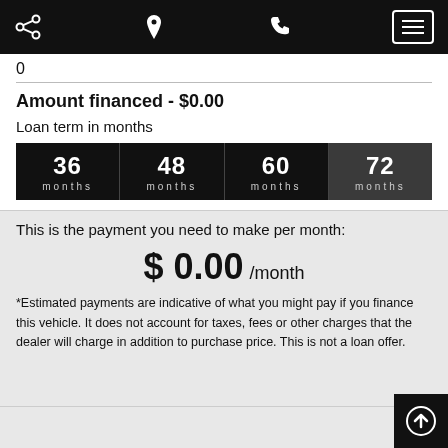Navigation bar with share, location, phone, and menu icons
0
Amount financed - $0.00
Loan term in months
36 months | 48 months | 60 months | 72 months
This is the payment you need to make per month:
$ 0.00 /month
*Estimated payments are indicative of what you might pay if you finance this vehicle. It does not account for taxes, fees or other charges that the dealer will charge in addition to purchase price. This is not a loan offer.